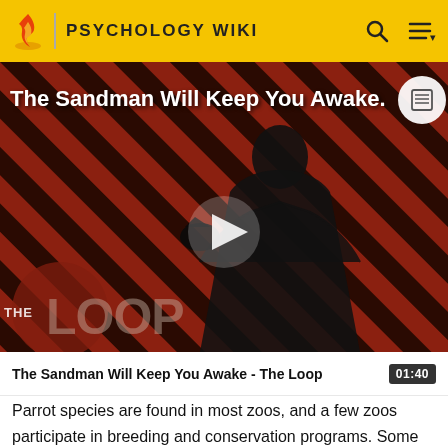PSYCHOLOGY WIKI
[Figure (screenshot): Video thumbnail for 'The Sandman Will Keep You Awake - The Loop' showing a dark-cloaked figure against a red and black diagonal striped background with a play button and THE LOOP watermark]
The Sandman Will Keep You Awake - The Loop  01:40
Parrot species are found in most zoos, and a few zoos participate in breeding and conservation programs. Some zoos have organized displays of trained parrots and other